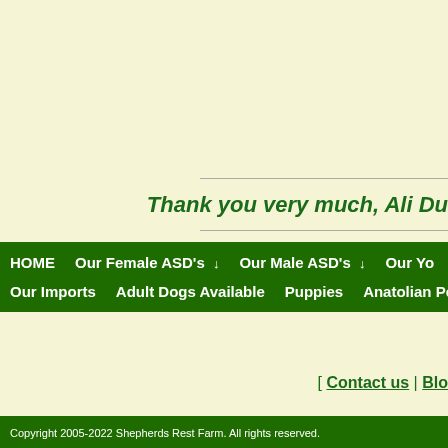Thank you very much, Ali Dun
HOME   Our Female ASD's ↓   Our Male ASD's ↓   Our Yo
Our Imports   Adult Dogs Available   Puppies   Anatolian Pe
[ Contact us | Blo
Copyright 2005-2022 Shepherds Rest Farm. All rights reserved.